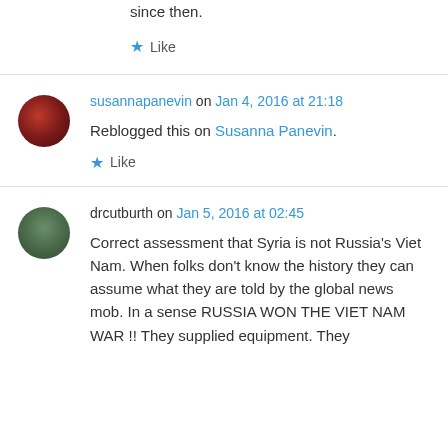since then.
★ Like
susannapanevin on Jan 4, 2016 at 21:18
Reblogged this on Susanna Panevin.
★ Like
drcutburth on Jan 5, 2016 at 02:45
Correct assessment that Syria is not Russia's Viet Nam. When folks don't know the history they can assume what they are told by the global news mob. In a sense RUSSIA WON THE VIET NAM WAR !! They supplied equipment. They